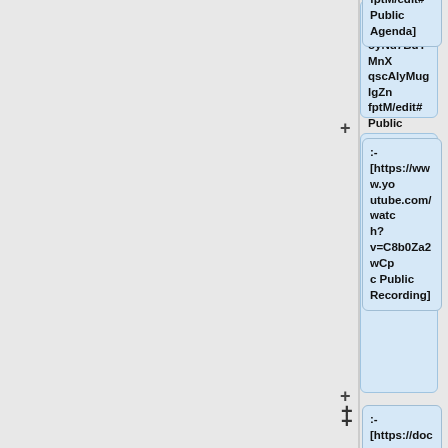LBS_WMmqGgoyNu7BdYMnXqscAlyMuglgZnfptM/edit# Public Agenda]
:- [https://www.youtube.com/watch?v=C8b0Za2wCpc Public Recording]
:- [https://docs.google.com/document/d/1nHISTA3knAdyk2Ut82r8kp4ZFoW8n0imrqc334ORH_U/edit Strategy Agenda]